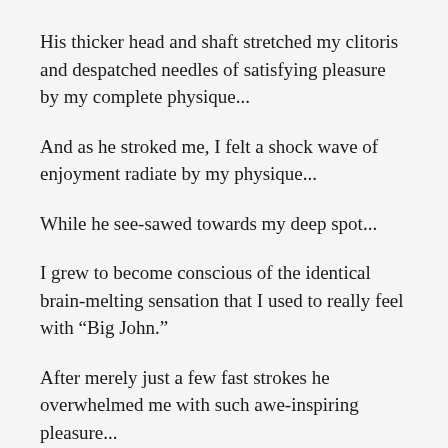His thicker head and shaft stretched my clitoris and despatched needles of satisfying pleasure by my complete physique...
And as he stroked me, I felt a shock wave of enjoyment radiate by my physique...
While he see-sawed towards my deep spot...
I grew to become conscious of the identical brain-melting sensation that I used to really feel with “Big John.”
After merely just a few fast strokes he overwhelmed me with such awe-inspiring pleasure...
And after he gifted me with again to again to again orgasms as potent as I’ve ever felt in my